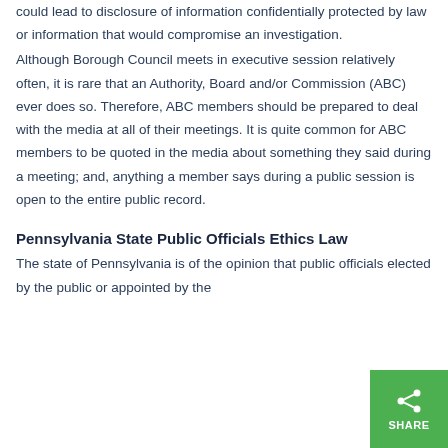could lead to disclosure of information confidentially protected by law or information that would compromise an investigation.
Although Borough Council meets in executive session relatively often, it is rare that an Authority, Board and/or Commission (ABC) ever does so. Therefore, ABC members should be prepared to deal with the media at all of their meetings. It is quite common for ABC members to be quoted in the media about something they said during a meeting; and, anything a member says during a public session is open to the entire public record.
Pennsylvania State Public Officials Ethics Law
The state of Pennsylvania is of the opinion that public officials elected by the public or appointed by the